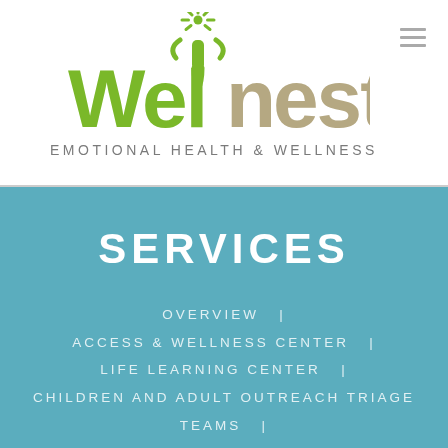[Figure (logo): Wellnest Emotional Health & Wellness logo with stylized green person figure above text]
EMOTIONAL HEALTH & WELLNESS
SERVICES
OVERVIEW  |
ACCESS & WELLNESS CENTER  |
LIFE LEARNING CENTER  |
CHILDREN AND ADULT OUTREACH TRIAGE TEAMS  |
CLINICAL TRAINING & INTERN DEVELOPMENT PROGRAM